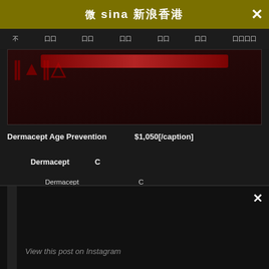Sina 新浪香港
[Figure (screenshot): Sina 新浪香港 website header with navigation bar showing Chinese menu items and a product image area with red branding]
Dermacept Age Prevention　　　　 $1,050[/caption]
Dermacept 　　　　C
Dermacept　　　　　　　　　　　 C 　　　　　　　　　　　　　　　　　　　　　　 65
[Figure (screenshot): Instagram embedded post area with black background, close button, vertical black bar on left, and 'View this post on Instagram' text]